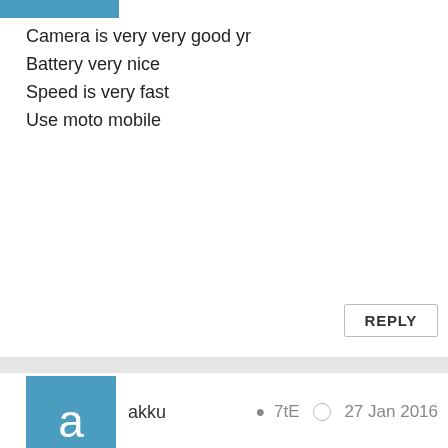[Figure (other): Blue avatar strip at top left corner]
Camera is very very good yr
Battery very nice
Speed is very fast
Use moto mobile
REPLY
[Figure (other): Blue avatar box with letter 'a' for user akku]
akku
7tE   27 Jan 2016
AnonD-492547, 27 Jan 2016
I think there is data connection shortcut, drop down status... more
Updated your moto x play
REPLY